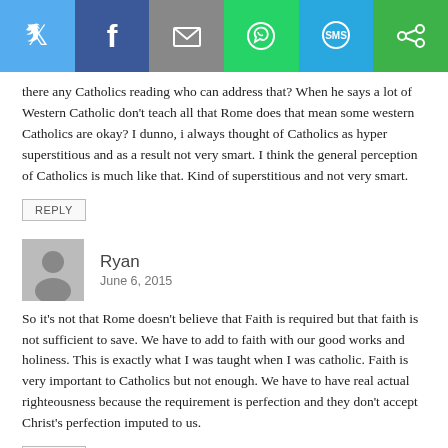[Figure (infographic): Social sharing bar with Twitter, Facebook, Email, WhatsApp, SMS, and another share button icons]
there any Catholics reading who can address that? When he says a lot of Western Catholic don't teach all that Rome does that mean some western Catholics are okay? I dunno, i always thought of Catholics as hyper superstitious and as a result not very smart. I think the general perception of Catholics is much like that. Kind of superstitious and not very smart.
REPLY
Ryan
June 6, 2015
So it's not that Rome doesn't believe that Faith is required but that faith is not sufficient to save. We have to add to faith with our good works and holiness. This is exactly what I was taught when I was catholic. Faith is very important to Catholics but not enough. We have to have real actual righteousness because the requirement is perfection and they don't accept Christ's perfection imputed to us.
REPLY